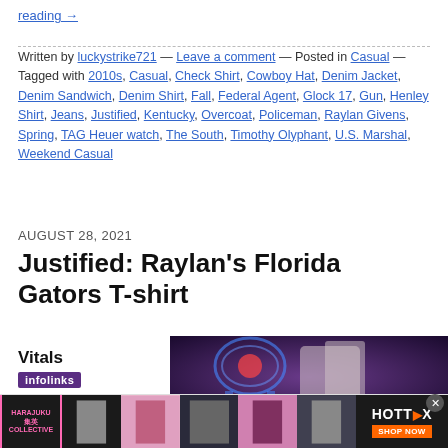reading →
Written by luckystrike721 — Leave a comment — Posted in Casual — Tagged with 2010s, Casual, Check Shirt, Cowboy Hat, Denim Jacket, Denim Sandwich, Denim Shirt, Fall, Federal Agent, Glock 17, Gun, Henley Shirt, Jeans, Justified, Kentucky, Overcoat, Policeman, Raylan Givens, Spring, TAG Heuer watch, The South, Timothy Olyphant, U.S. Marshal, Weekend Casual
AUGUST 28, 2021
Justified: Raylan's Florida Gators T-shirt
Vitals
[Figure (photo): A blurred dark photo showing what appears to be a bar scene with neon lights and blue/purple hues.]
[Figure (photo): Advertising banner showing fashion models and HOTT DX brand with Shop Now button.]